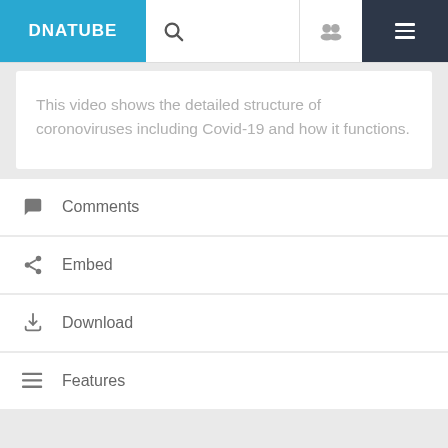DNATUBE
This video shows the detailed structure of coronoviruses including Covid-19 and how it functions.
Comments
Embed
Download
Features